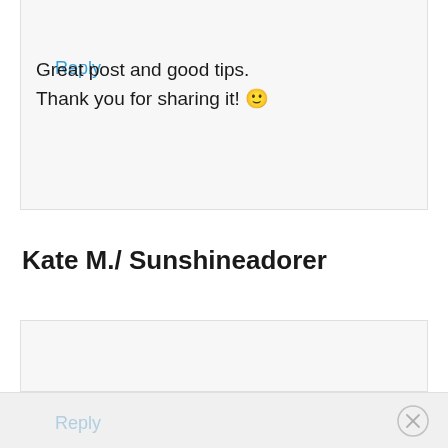Reply
Kate M./ Sunshineadorer
Great post and good tips. Thank you for sharing it! 🙂
Reply